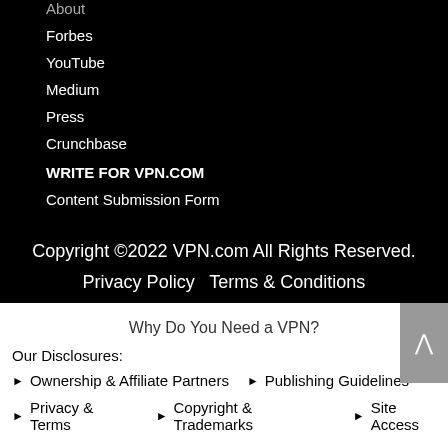About
Forbes
YouTube
Medium
Press
Crunchbase
WRITE FOR VPN.COM
Content Submission Form
Copyright ©2022 VPN.com All Rights Reserved.
Privacy Policy   Terms & Conditions
Why Do You Need a VPN?
Our Disclosures:
Ownership & Affiliate Partners
Publishing Guidelines
Privacy & Terms
Copyright & Trademarks
Site Access
[Figure (other): DMCA Protected badge]
[Figure (other): Back to top button with upward arrow]